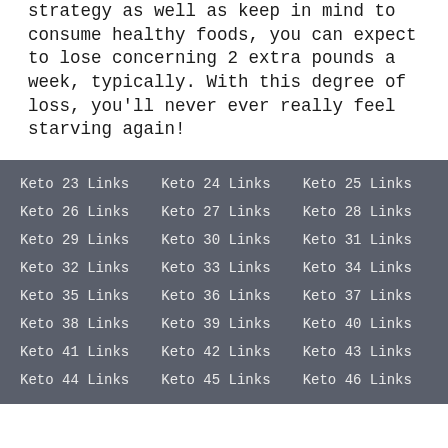strategy as well as keep in mind to consume healthy foods, you can expect to lose concerning 2 extra pounds a week, typically. With this degree of loss, you'll never ever really feel starving again!
Keto 23 Links
Keto 24 Links
Keto 25 Links
Keto 26 Links
Keto 27 Links
Keto 28 Links
Keto 29 Links
Keto 30 Links
Keto 31 Links
Keto 32 Links
Keto 33 Links
Keto 34 Links
Keto 35 Links
Keto 36 Links
Keto 37 Links
Keto 38 Links
Keto 39 Links
Keto 40 Links
Keto 41 Links
Keto 42 Links
Keto 43 Links
Keto 44 Links
Keto 45 Links
Keto 46 Links